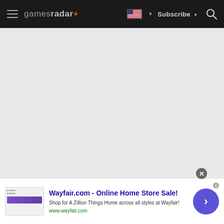gamesradar+ — Subscribe
[Figure (screenshot): Large empty grey content area, website loading state]
[Figure (infographic): Wayfair.com online advertisement banner with thumbnail, title, description, URL, and CTA button]